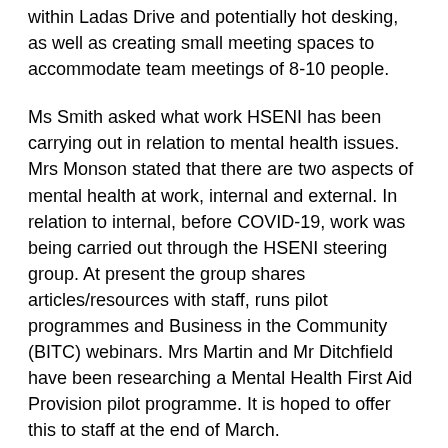within Ladas Drive and potentially hot desking, as well as creating small meeting spaces to accommodate team meetings of 8-10 people.
Ms Smith asked what work HSENI has been carrying out in relation to mental health issues. Mrs Monson stated that there are two aspects of mental health at work, internal and external. In relation to internal, before COVID-19, work was being carried out through the HSENI steering group. At present the group shares articles/resources with staff, runs pilot programmes and Business in the Community (BITC) webinars. Mrs Martin and Mr Ditchfield have been researching a Mental Health First Aid Provision pilot programme. It is hoped to offer this to staff at the end of March.
In relation to the external facing mental health issues, the Mental Well-being at Work Advisory Service continues to work hard offering webinars on the Management Standards